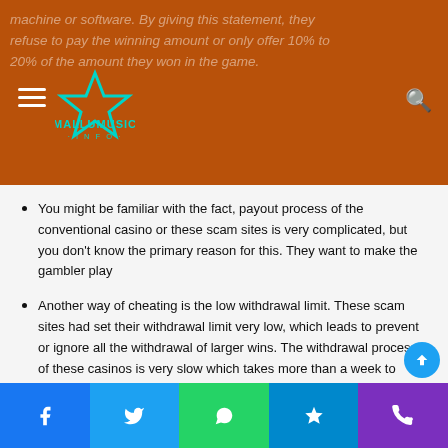mallumusic.info
machine or software. By giving this statement, they refuse to pay the winning amount or only offer 10% to 20% of the amount they won in the game.
You might be familiar with the fact, payout process of the conventional casino or these scam sites is very complicated, but you don't know the primary reason for this. They want to make the gambler play
Another way of cheating is the low withdrawal limit. These scam sites had set their withdrawal limit very low, which leads to prevent or ignore all the withdrawal of larger wins. The withdrawal process of these casinos is very slow which takes more than a week to withdraw your winning amount.
They also create a fake or manipulated game as the copy of the popular game, which is developed by many